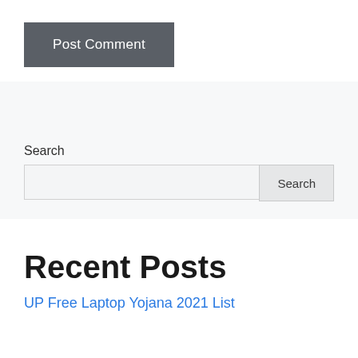[Figure (screenshot): Post Comment button — dark gray rectangular button with white text]
Search
[Figure (screenshot): Search input field with Search button]
Recent Posts
UP Free Laptop Yojana 2021 List